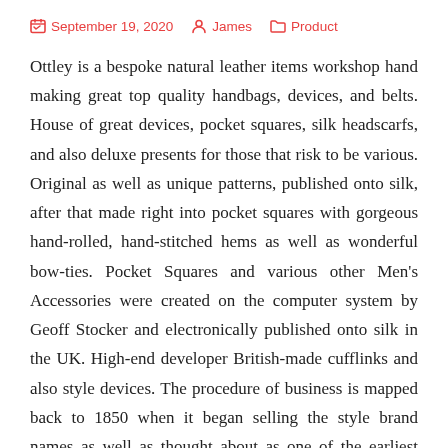September 19, 2020  James  Product
Ottley is a bespoke natural leather items workshop hand making great top quality handbags, devices, and belts. House of great devices, pocket squares, silk headscarfs, and also deluxe presents for those that risk to be various. Original as well as unique patterns, published onto silk, after that made right into pocket squares with gorgeous hand-rolled, hand-stitched hems as well as wonderful bow-ties. Pocket Squares and various other Men's Accessories were created on the computer system by Geoff Stocker and electronically published onto silk in the UK. High-end developer British-made cufflinks and also style devices. The procedure of business is mapped back to 1850 when it began selling the style brand names as well as thought about as one of the earliest style